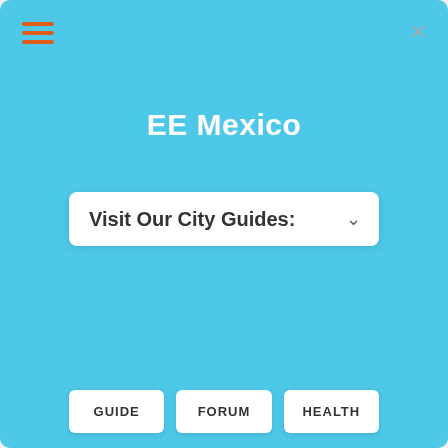[Figure (screenshot): Website navigation overlay/menu for EE Mexico with light blue background, hamburger menu icon in orange, X close button, site title 'EE Mexico', a dropdown labeled 'Visit Our City Guides:', and three navigation buttons: GUIDE, FORUM, HEALTH. Behind the overlay, partially visible: cookie notice, Retiring in Mexico section with sun icon, and Mexico Visa & Residency Guide section.]
We Uses Cookies
We use cookies to make our site function, analyze our traffic with Google Analytics, and for marketing purposes. Your use of Burlingame Interactive's website is subject to these terms.
Retiring in Mexico
Advice for people retiring in Mexico.
Mexico Visa & Residency Guide